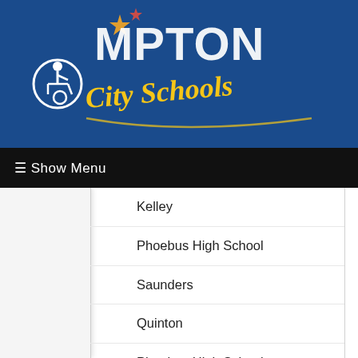[Figure (logo): Compton City Schools logo with accessibility icon on a blue background]
≡ Show Menu
Kelley
Phoebus High School
Saunders
Quinton
Phoebus High School
Simmons Jr